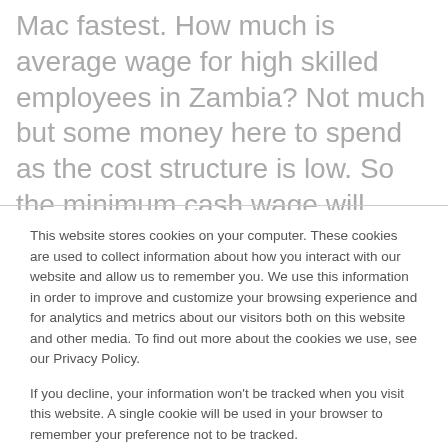Mac fastest. How much is average wage for high skilled employees in Zambia? Not much but some money here to spend as the cost structure is low. So the minimum cash wage will increase to 5.40 Namibia dollars (about 36 U.S. cents) per hour, or 1,053 Namibia dollars per month for a worker who works 45 hours per week, the NALF said in a
This website stores cookies on your computer. These cookies are used to collect information about how you interact with our website and allow us to remember you. We use this information in order to improve and customize your browsing experience and for analytics and metrics about our visitors both on this website and other media. To find out more about the cookies we use, see our Privacy Policy.
If you decline, your information won't be tracked when you visit this website. A single cookie will be used in your browser to remember your preference not to be tracked.